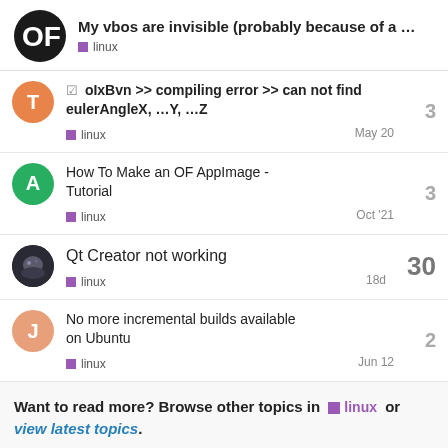My vbos are invisible (probably because of a ...
linux
oIxBvn >> compiling error >> can not find eulerAngleX, ...Y, ...Z | linux | May 20 | 3
How To Make an OF AppImage - Tutorial | linux | Oct '21 | 3
Qt Creator not working | linux | 18d | 30
No more incremental builds available on Ubuntu | linux | Jun 12 | 2
Want to read more? Browse other topics in linux or view latest topics.